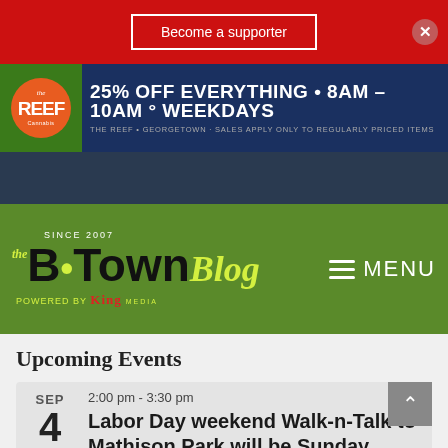Become a supporter
[Figure (advertisement): The Reef Cannabis dispensary ad: 25% OFF EVERYTHING • 8AM - 10AM ° WEEKDAYS. THE REEF • GEORGETOWN · SALES APPLY ONLY TO REGULARLY PRICED ITEMS]
[Figure (logo): B·Town Blog logo - Since 2007, Powered by King Media. Green navigation bar with hamburger MENU icon.]
Upcoming Events
SEP 4 | 2:00 pm - 3:30 pm | Labor Day weekend Walk-n-Talk to Mathison Park will be Sunday, Sept. 4
SEP 9 | 6:00 pm - 7:00 pm | Environmental S...